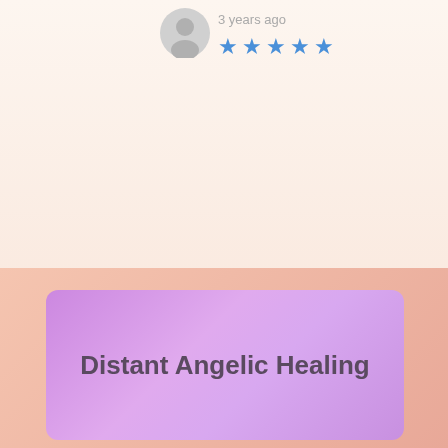[Figure (illustration): User avatar silhouette icon (grey circle with person outline) in top-left area of review card]
3 years ago
[Figure (illustration): Five blue star rating icons]
[Figure (illustration): Purple gradient card / banner area]
Distant Angelic Healing